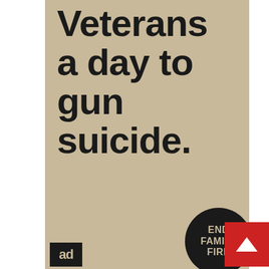Veterans a day to gun suicide.
[Figure (logo): ad council logo — black rectangle with 'ad' text in tan color]
[Figure (logo): End Family Fire circular logo — dark circle with 'END FAMILY FIRE' text in tan color]
[Figure (other): Red square button with white upward-pointing arrow]